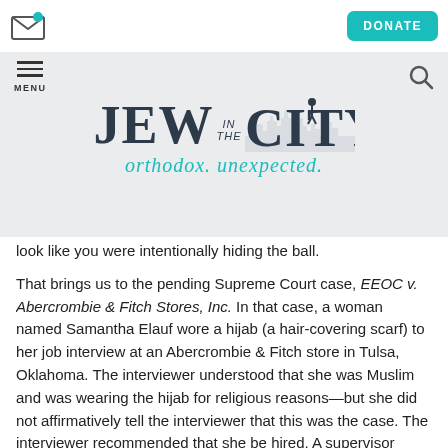Jew in the City — orthodox. unexpected.
look like you were intentionally hiding the ball.
That brings us to the pending Supreme Court case, EEOC v. Abercrombie & Fitch Stores, Inc. In that case, a woman named Samantha Elauf wore a hijab (a hair-covering scarf) to her job interview at an Abercrombie & Fitch store in Tulsa, Oklahoma. The interviewer understood that she was Muslim and was wearing the hijab for religious reasons—but she did not affirmatively tell the interviewer that this was the case. The interviewer recommended that she be hired. A supervisor overruled the recommendation on the basis that wearing a hijab did not comport with